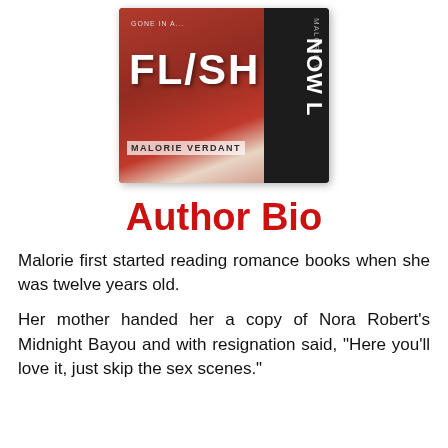[Figure (illustration): Book cover for 'Flash' by Malorie Verdant. Left side shows dramatic red background with large white text 'FLASH' and subtitle 'Gone in a...' at top, author name 'MALORIE VERDANT' at bottom. Right side is dark with 'MALORIE V' and 'NOW L' in large vertical white text.]
Author Bio
Malorie first started reading romance books when she was twelve years old.
Her mother handed her a copy of Nora Robert's Midnight Bayou and with resignation said, "Here you'll love it, just skip the sex scenes."